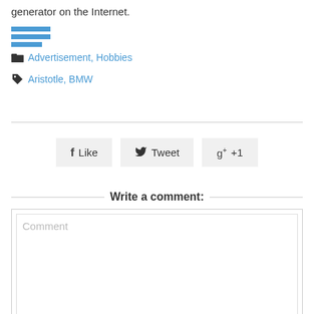generator on the Internet.
[Figure (illustration): Three horizontal blue lines (like a menu/hamburger icon or divider decoration)]
Advertisement, Hobbies
Aristotle, BMW
Like  Tweet  g+ +1 (social share buttons)
Write a comment:
Comment (placeholder text in comment box)